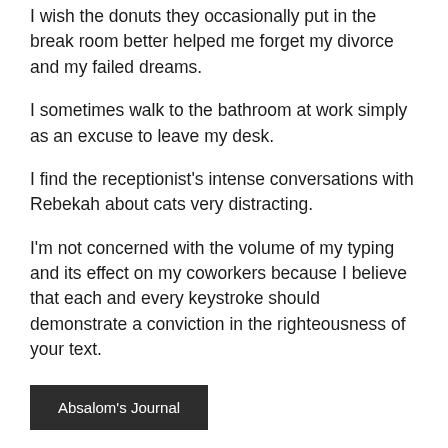I wish the donuts they occasionally put in the break room better helped me forget my divorce and my failed dreams.
I sometimes walk to the bathroom at work simply as an excuse to leave my desk.
I find the receptionist’s intense conversations with Rebekah about cats very distracting.
I’m not concerned with the volume of my typing and its effect on my coworkers because I believe that each and every keystroke should demonstrate a conviction in the righteousness of your text.
Absalom's Journal
MUSIC